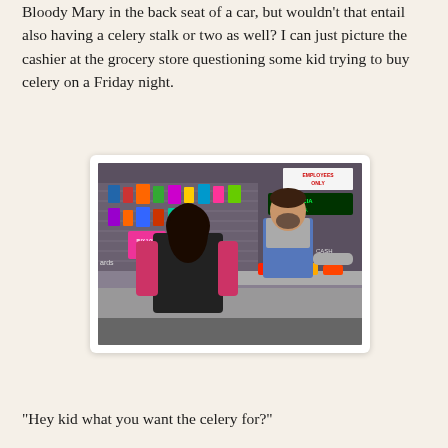Bloody Mary in the back seat of a car, but wouldn't that entail also having a celery stalk or two as well? I can just picture the cashier at the grocery store questioning some kid trying to buy celery on a Friday night.
[Figure (photo): A grocery store checkout scene showing a young woman with dark hair wearing a black vest and pink long-sleeve shirt, viewed from behind, standing at a counter across from a male cashier wearing a blue apron. Store shelves with products, signs including 'EMPLOYEES ONLY' and promotional signs visible in the background.]
“Hey kid what you want the celery for?”